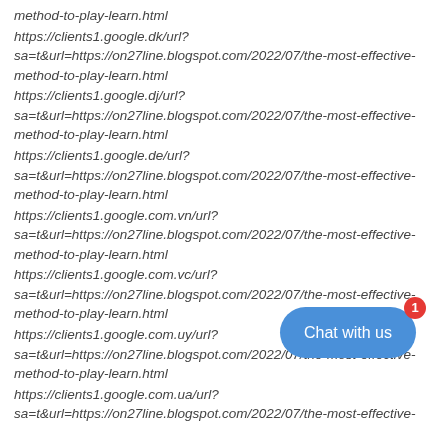method-to-play-learn.html
https://clients1.google.dk/url?
sa=t&url=https://on27line.blogspot.com/2022/07/the-most-effective-method-to-play-learn.html
https://clients1.google.dj/url?
sa=t&url=https://on27line.blogspot.com/2022/07/the-most-effective-method-to-play-learn.html
https://clients1.google.de/url?
sa=t&url=https://on27line.blogspot.com/2022/07/the-most-effective-method-to-play-learn.html
https://clients1.google.com.vn/url?
sa=t&url=https://on27line.blogspot.com/2022/07/the-most-effective-method-to-play-learn.html
https://clients1.google.com.vc/url?
sa=t&url=https://on27line.blogspot.com/2022/07/the-most-effective-method-to-play-learn.html
https://clients1.google.com.uy/url?
sa=t&url=https://on27line.blogspot.com/2022/07/the-most-effective-method-to-play-learn.html
https://clients1.google.com.ua/url?
sa=t&url=https://on27line.blogspot.com/2022/07/the-most-effective-
[Figure (other): Blue rounded 'Chat with us' button with a red notification badge showing '1' in the bottom right of the page.]